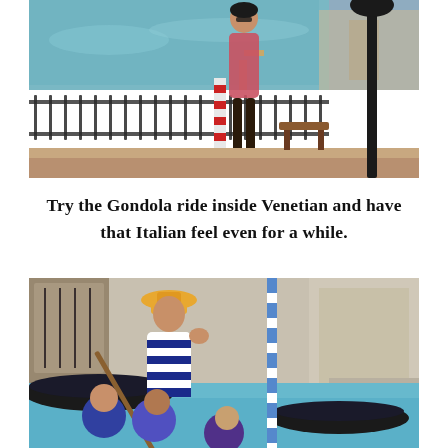[Figure (photo): Woman in floral dress standing at an outdoor waterfront area with ornate iron fence, water in background, lamppost on right — exterior of The Venetian Las Vegas]
Try the Gondola ride inside Venetian and have that Italian feel even for a while.
[Figure (photo): Gondolier in striped shirt and straw hat waving, steering a gondola with passengers inside an indoor canal — inside The Venetian Las Vegas; striped mooring pole visible, gondola boats in background]